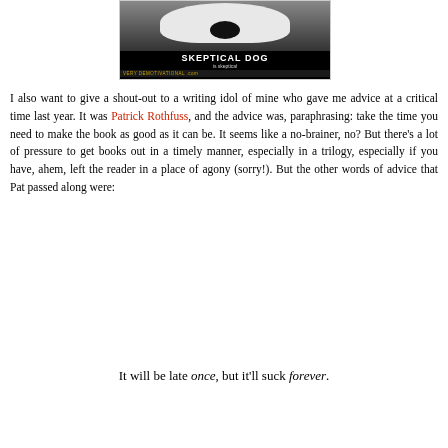[Figure (photo): Demotivational meme image showing a dog's face close up with text 'SKEPTICAL DOG is skeptical' and 'VERY DEMOTIVATIONAL .com' footer on black background]
I also want to give a shout-out to a writing idol of mine who gave me advice at a critical time last year. It was Patrick Rothfuss, and the advice was, paraphrasing: take the time you need to make the book as good as it can be. It seems like a no-brainer, no? But there's a lot of pressure to get books out in a timely manner, especially in a trilogy, especially if you have, ahem, left the reader in a place of agony (sorry!). But the other words of advice that Pat passed along were:
It will be late once, but it'll suck forever.